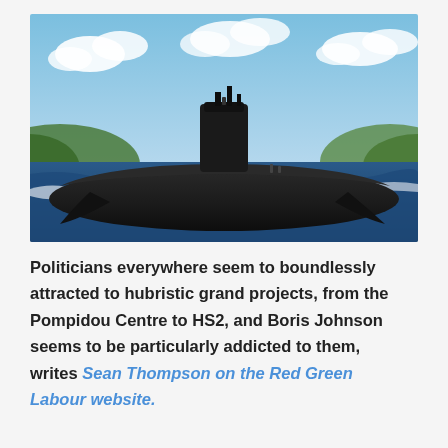[Figure (photo): A large black nuclear submarine sailing on blue choppy water with green hills and a partly cloudy blue sky in the background.]
Politicians everywhere seem to boundlessly attracted to hubristic grand projects, from the Pompidou Centre to HS2, and Boris Johnson seems to be particularly addicted to them, writes Sean Thompson on the Red Green Labour website.